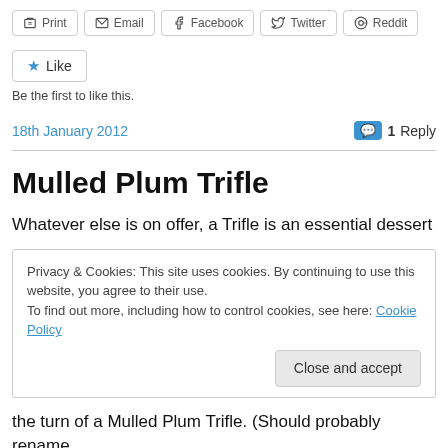[Figure (screenshot): Row of social share buttons: Print, Email, Facebook, Twitter, Reddit]
[Figure (screenshot): Like button with star icon]
Be the first to like this.
18th January 2012
1 Reply
Mulled Plum Trifle
Whatever else is on offer, a Trifle is an essential dessert
Privacy & Cookies: This site uses cookies. By continuing to use this website, you agree to their use.
To find out more, including how to control cookies, see here: Cookie Policy
Close and accept
the turn of a Mulled Plum Trifle. (Should probably rename